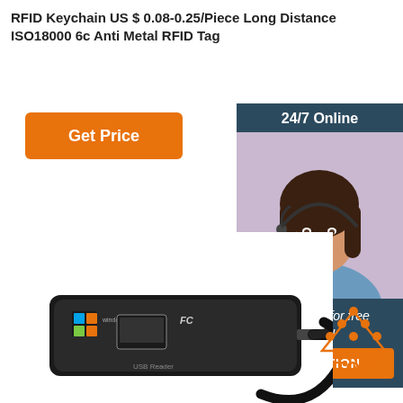RFID Keychain US $ 0.08-0.25/Piece Long Distance ISO18000 6c Anti Metal RFID Tag
[Figure (screenshot): Orange 'Get Price' button]
[Figure (photo): Right side panel with dark blue background showing '24/7 Online' text, a photo of a smiling woman with a headset, 'Click here for free chat!' text, and an orange 'QUOTATION' button]
[Figure (photo): Black USB RFID reader device with Windows logo and USB cable, FC certification mark, and USB Reader label]
[Figure (logo): Orange and white TOP badge/logo with triangular dot pattern]